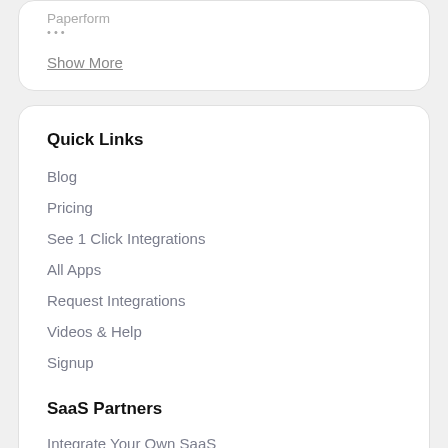Paperform
Show More
Quick Links
Blog
Pricing
See 1 Click Integrations
All Apps
Request Integrations
Videos & Help
Signup
SaaS Partners
Integrate Your Own SaaS